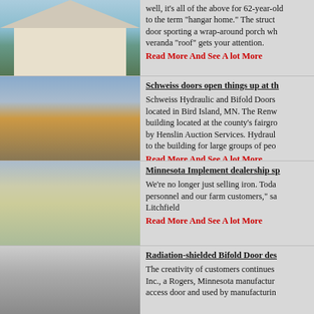[Figure (photo): Hangar home building exterior with wrap-around porch]
well, it's all of the above for 62-year-old to the term "hangar home." The struct door sporting a wrap-around porch wh veranda "roof" gets your attention.
Read More And See A lot More
[Figure (photo): Schweiss doors at county fairground building, flag visible]
Schweiss doors open things up at th
Schweiss Hydraulic and Bifold Doors located in Bird Island, MN. The Renw building located at the county's fairgro by Henslin Auction Services. Hydraul to the building for large groups of peo
Read More And See A lot More
[Figure (photo): Minnesota implement dealership building with tractor outside]
Minnesota Implement dealership sp
We're no longer just selling iron. Toda personnel and our farm customers," sa Litchfield
Read More And See A lot More
[Figure (photo): Radiation-shielded bifold door interior view]
Radiation-shielded Bifold Door des
The creativity of customers continues Inc., a Rogers, Minnesota manufactur access door and used by manufacturin